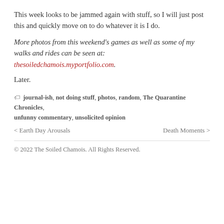This week looks to be jammed again with stuff, so I will just post this and quickly move on to do whatever it is I do.
More photos from this weekend's games as well as some of my walks and rides can be seen at: thesoiledchamois.myportfolio.com.
Later.
journal-ish, not doing stuff, photos, random, The Quarantine Chronicles, unfunny commentary, unsolicited opinion
< Earth Day Arousals   Death Moments >
© 2022 The Soiled Chamois. All Rights Reserved.